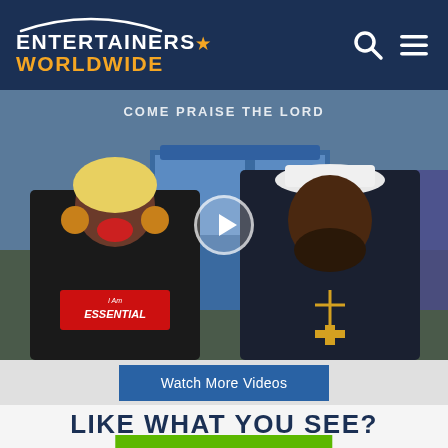ENTERTAINERS★ WORLDWIDE
[Figure (photo): Video thumbnail showing two people standing outdoors in front of a blue building. The woman on the left has blonde hair, large earrings, and wears a black sweatshirt with a red logo reading 'I Am ESSENTIAL'. The man on the right wears a white hat, black sweatshirt, and a gold cross necklace. Text at top reads 'COME PRAISE THE LORD'. A play button overlay is visible in the center.]
Watch More Videos
LIKE WHAT YOU SEE?
Request a Quote